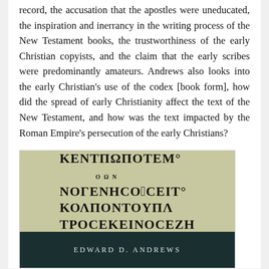record, the accusation that the apostles were uneducated, the inspiration and inerrancy in the writing process of the New Testament books, the trustworthiness of the early Christian copyists, and the claim that the early scribes were predominantly amateurs. Andrews also looks into the early Christian's use of the codex [book form], how did the spread of early Christianity affect the text of the New Testament, and how was the text impacted by the Roman Empire's persecution of the early Christians?
[Figure (photo): Book cover image showing ancient Greek manuscript text in the upper portion with dark background, and the author name 'EDWARD D. ANDREWS' in spaced letters on a dark teal/green background in the lower portion.]